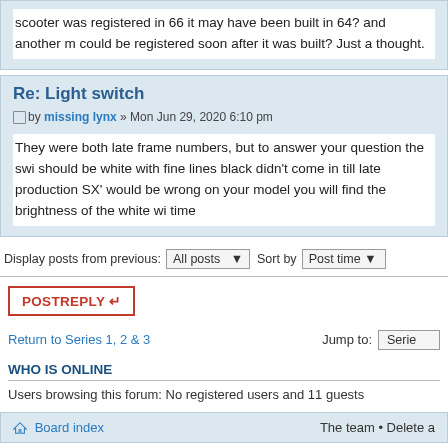scooter was registered in 66 it may have been built in 64? and another m could be registered soon after it was built? Just a thought.
Re: Light switch
by missing lynx » Mon Jun 29, 2020 6:10 pm
They were both late frame numbers, but to answer your question the swi should be white with fine lines black didn't come in till late production SX' would be wrong on your model you will find the brightness of the white wi time
Display posts from previous: All posts ▾  Sort by  Post time ▾
POSTREPLY ↩
Return to Series 1, 2 & 3   Jump to:  Serie
WHO IS ONLINE
Users browsing this forum: No registered users and 11 guests
Board index   The team • Delete a
Powered by phpBB® Forum Software © phpBB Gr